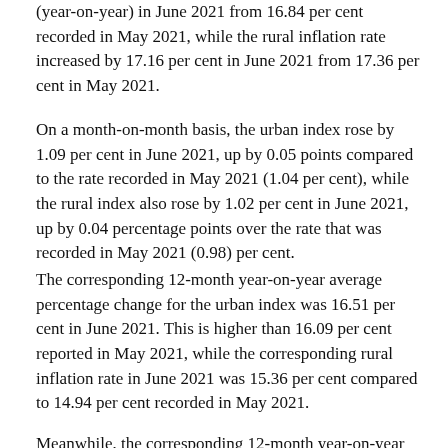(year-on-year) in June 2021 from 16.84 per cent recorded in May 2021, while the rural inflation rate increased by 17.16 per cent in June 2021 from 17.36 per cent in May 2021.
On a month-on-month basis, the urban index rose by 1.09 per cent in June 2021, up by 0.05 points compared to the rate recorded in May 2021 (1.04 per cent), while the rural index also rose by 1.02 per cent in June 2021, up by 0.04 percentage points over the rate that was recorded in May 2021 (0.98) per cent.
The corresponding 12-month year-on-year average percentage change for the urban index was 16.51 per cent in June 2021. This is higher than 16.09 per cent reported in May 2021, while the corresponding rural inflation rate in June 2021 was 15.36 per cent compared to 14.94 per cent recorded in May 2021.
Meanwhile, the corresponding 12-month year-on-year average